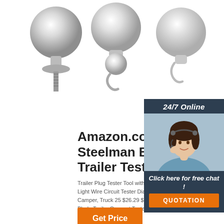[Figure (photo): Three chrome/silver trailer hitch balls displayed against white background]
Amazon.com: Steelman Bluetooth Trailer Tester,
Trailer Plug Tester Tool with 7 Pins, 12V 7-Trailer Light Wire Circuit Tester Diagnostic for RV Trailer, Camper, Truck 25 $26.29 $ MICTUNING 7 Way Blade Trailer Connect Tester with Red LEDs 205
[Figure (photo): Customer service representative woman with headset, 24/7 Online chat widget with orange QUOTATION button]
Get Price